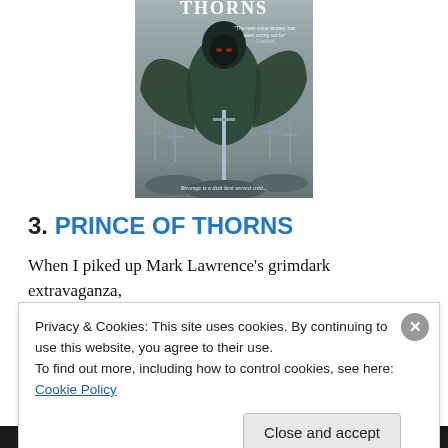[Figure (illustration): Book cover of Prince of Thorns showing a dark hooded figure in a green cloak holding a sword, surrounded by a misty battlefield with crosses. Text on cover reads 'The new voice fantasy has been crying out for' and 'Revenge is a dish best served cold...']
3. PRINCE OF THORNS
When I piked up Mark Lawrence's grimdark extravaganza,
Privacy & Cookies: This site uses cookies. By continuing to use this website, you agree to their use.
To find out more, including how to control cookies, see here: Cookie Policy
Close and accept